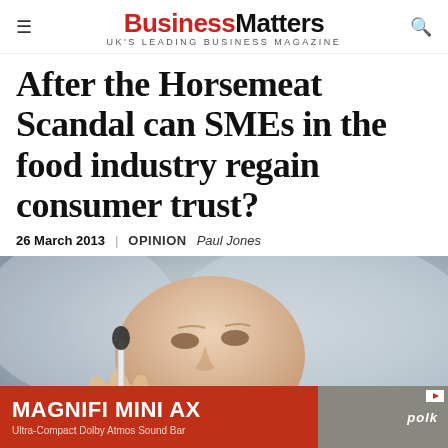Business Matters — UK'S LEADING BUSINESS MAGAZINE
After the Horsemeat Scandal can SMEs in the food industry regain consumer trust?
26 March 2013   OPINION   Paul Jones
[Figure (photo): Close-up photo of a man holding a dropper/pipette, examining something closely, blurred background]
MAGNIFI MINI AX — Ultra-Compact Dolby Atmos Sound Bar — polk